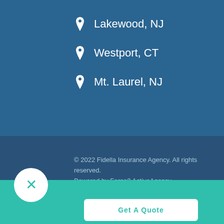Lakewood, NJ
Westport, CT
Mt. Laurel, NJ
© 2022 Fidella Insurance Agency. All rights reserved.
Powered by Forge3 ActiveAgency.
[Figure (infographic): Social media icons: Twitter (bird), Facebook (f), LinkedIn (in)]
'll Help You Find the Most Cost-Ef
Get A Quote